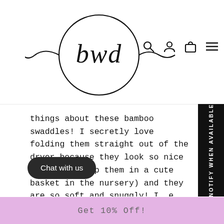[Figure (logo): BWD brand logo: cursive 'bwd' text inside a hand-drawn circle with wavy lines extending from either side]
things about these bamboo swaddles! I secretly love folding them straight out of the dryer because they look so nice folded (I keep them in a cute basket in the nursery) and they are so soft and snuggly! I [e] way to capture and hold on [of] baby for longer! I highly
NOTIFY WHEN AVAILABLE
Chat with us
Get 10% Off!